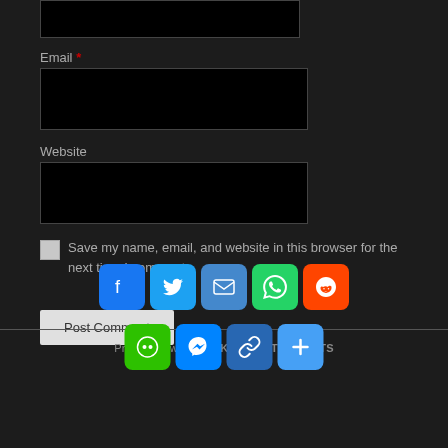Email *
[Figure (screenshot): Email input field (black rectangle with border)]
Website
[Figure (screenshot): Website input field (black rectangle with border)]
Save my name, email, and website in this browser for the next time I comment.
[Figure (screenshot): Post Comment button]
[Figure (infographic): Social share icons row 1: Facebook, Twitter, Email, WhatsApp, Reddit]
Proudly powered by KICKOW TORRENTS
[Figure (infographic): Social share icons row 2: WeChat, Messenger, Link, Plus/More]